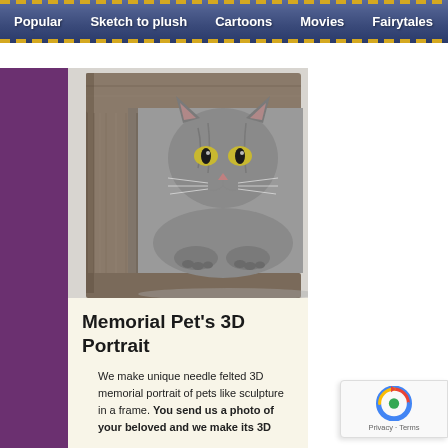Popular   Sketch to plush   Cartoons   Movies   Fairytales   Big toys
[Figure (photo): A grey tabby cat sitting inside a rustic wooden picture frame, photographed against a light grey background. The cat has green/yellow eyes and appears calm.]
Memorial Pet's 3D Portrait
We make unique needle felted 3D memorial portrait of pets like sculpture in a frame. You send us a photo of your beloved and we make its 3D